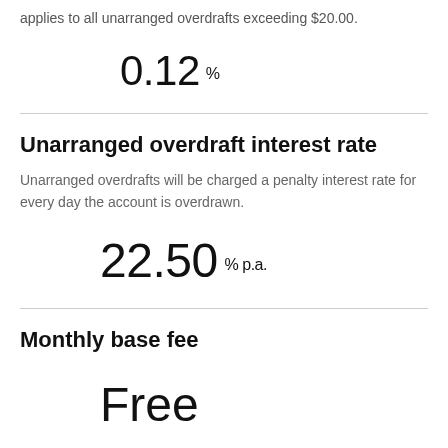applies to all unarranged overdrafts exceeding $20.00.
0.12 %
Unarranged overdraft interest rate
Unarranged overdrafts will be charged a penalty interest rate for every day the account is overdrawn.
22.50 % p.a.
Monthly base fee
Free